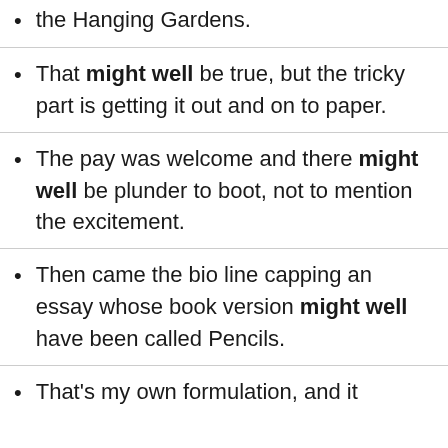the Hanging Gardens.
That might well be true, but the tricky part is getting it out and on to paper.
The pay was welcome and there might well be plunder to boot, not to mention the excitement.
Then came the bio line capping an essay whose book version might well have been called Pencils.
That's my own formulation, and it